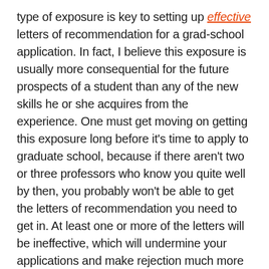type of exposure is key to setting up effective letters of recommendation for a grad-school application. In fact, I believe this exposure is usually more consequential for the future prospects of a student than any of the new skills he or she acquires from the experience. One must get moving on getting this exposure long before it's time to apply to graduate school, because if there aren't two or three professors who know you quite well by then, you probably won't be able to get the letters of recommendation you need to get in. At least one or more of the letters will be ineffective, which will undermine your applications and make rejection much more likely.
Most volunteer research assistants waste their time and accomplish little or nothing